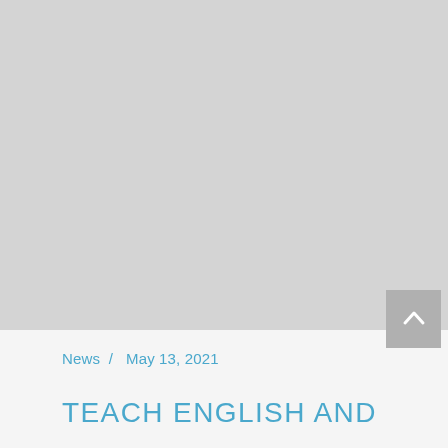[Figure (photo): Large placeholder image area with light gray background, occupying the top two-thirds of the page]
News / May 13, 2021
TEACH ENGLISH AND